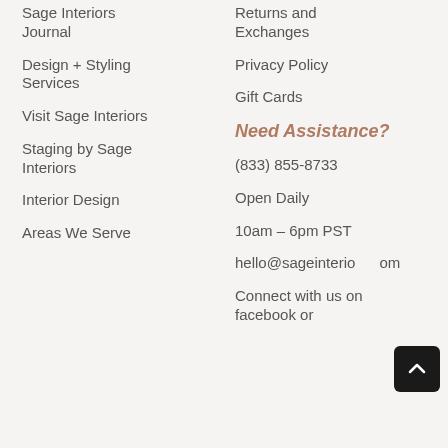Sage Interiors Journal
Design + Styling Services
Visit Sage Interiors
Staging by Sage Interiors
Interior Design
Areas We Serve
Returns and Exchanges
Privacy Policy
Gift Cards
Need Assistance?
(833) 855-8733
Open Daily
10am – 6pm PST
hello@sageinteriors.com
Connect with us on facebook or